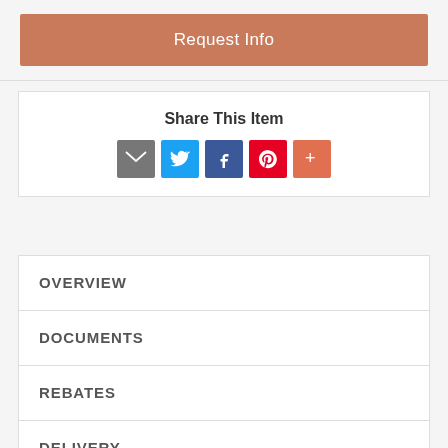[Figure (other): Request Info button — terracotta/salmon colored rectangular button with white text]
Share This Item
[Figure (other): Social share icons row: Email (grey), Twitter (blue), Facebook (dark blue), Pinterest (red), More (orange-red)]
OVERVIEW
DOCUMENTS
REBATES
DELIVERY